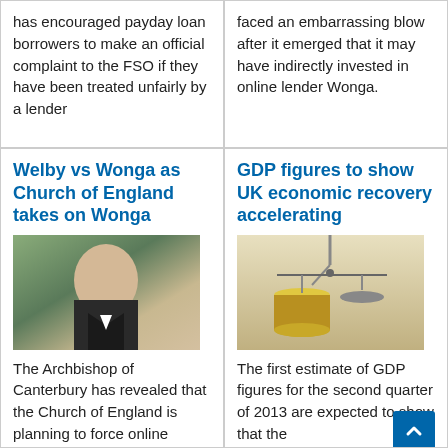has encouraged payday loan borrowers to make an official complaint to the FSO if they have been treated unfairly by a lender
faced an embarrassing blow after it emerged that it may have indirectly invested in online lender Wonga.
Welby vs Wonga as Church of England takes on Wonga
[Figure (photo): Portrait photo of the Archbishop of Canterbury]
The Archbishop of Canterbury has revealed that the Church of England is planning to force online
GDP figures to show UK economic recovery accelerating
[Figure (photo): Photo of stacked gold coins hanging on a chain scale]
The first estimate of GDP figures for the second quarter of 2013 are expected to show that the